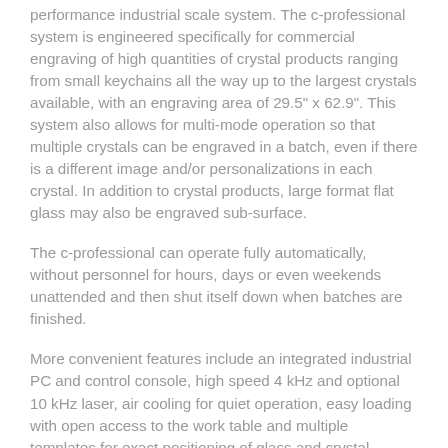performance industrial scale system. The c-professional system is engineered specifically for commercial engraving of high quantities of crystal products ranging from small keychains all the way up to the largest crystals available, with an engraving area of 29.5" x 62.9". This system also allows for multi-mode operation so that multiple crystals can be engraved in a batch, even if there is a different image and/or personalizations in each crystal. In addition to crystal products, large format flat glass may also be engraved sub-surface.
The c-professional can operate fully automatically, without personnel for hours, days or even weekends unattended and then shut itself down when batches are finished.
More convenient features include an integrated industrial PC and control console, high speed 4 kHz and optional 10 kHz laser, air cooling for quiet operation, easy loading with open access to the work table and multiple templates for exact positioning of glass and crystal.